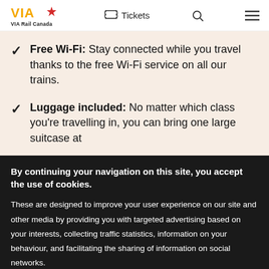VIA Rail Canada — Tickets (navigation bar)
Free Wi-Fi: Stay connected while you travel thanks to the free Wi-Fi service on all our trains.
Luggage included: No matter which class you're travelling in, you can bring one large suitcase at
By continuing your navigation on this site, you accept the use of cookies.
These are designed to improve your user experience on our site and other media by providing you with targeted advertising based on your interests, collecting traffic statistics, information on your behaviour, and facilitating the sharing of information on social networks.
For more information on our Cookie Policy